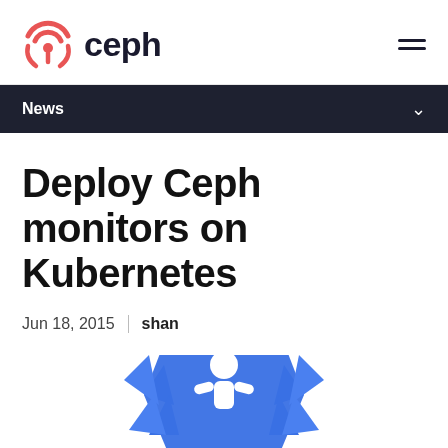[Figure (logo): Ceph logo: red circular wifi/signal icon with text 'ceph' in dark bold font]
News
Deploy Ceph monitors on Kubernetes
Jun 18, 2015 | shan
[Figure (illustration): Kubernetes blue logo illustration, partially visible at bottom of page]